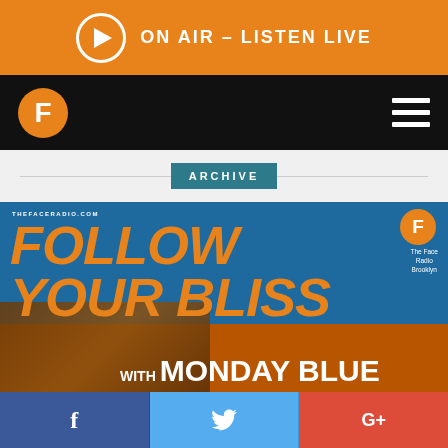ON AIR - LISTEN LIVE
[Figure (logo): The Face Radio logo - letter F in orange circle, with hamburger menu icon on black nav bar]
ARCHIVE
[Figure (illustration): Follow Your Bliss with Monday Blue - show artwork on The Face Radio Brooklyn. Blue and orange background with bold orange italic text reading FOLLOW YOUR BLISS with Monday Blue in white. URL THEFACERADIO.COM top left, F logo top right.]
f  (Facebook share)
🐦 (Twitter share)
G+ (Google Plus share)